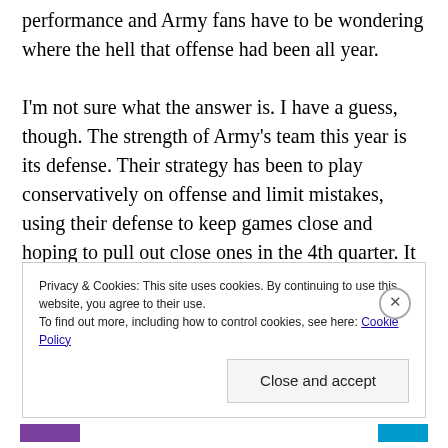performance and Army fans have to be wondering where the hell that offense had been all year.

I'm not sure what the answer is. I have a guess, though. The strength of Army's team this year is its defense. Their strategy has been to play conservatively on offense and limit mistakes, using their defense to keep games close and hoping to pull out close ones in the 4th quarter. It worked in a few games. That's how Army beat Rhode Island and Tulane, and they played tough contests with Akron and Wake Forest. They also
Privacy & Cookies: This site uses cookies. By continuing to use this website, you agree to their use.
To find out more, including how to control cookies, see here: Cookie Policy
Close and accept